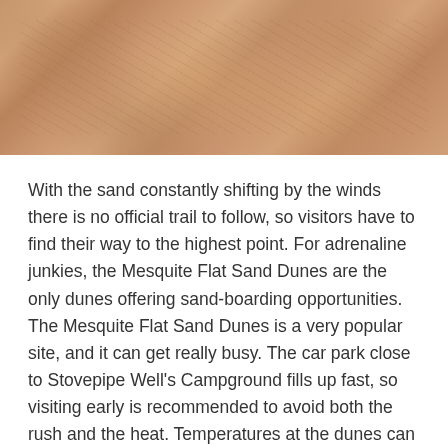[Figure (photo): Close-up photo of sandy rock or dune surfaces with warm tan and brown tones, textured with ridges and curves suggesting sand dunes or sandstone formations.]
With the sand constantly shifting by the winds there is no official trail to follow, so visitors have to find their way to the highest point. For adrenaline junkies, the Mesquite Flat Sand Dunes are the only dunes offering sand-boarding opportunities. The Mesquite Flat Sand Dunes is a very popular site, and it can get really busy. The car park close to Stovepipe Well's Campground fills up fast, so visiting early is recommended to avoid both the rush and the heat. Temperatures at the dunes can be intolerable for s months and in winter the land
Schedule A Consult